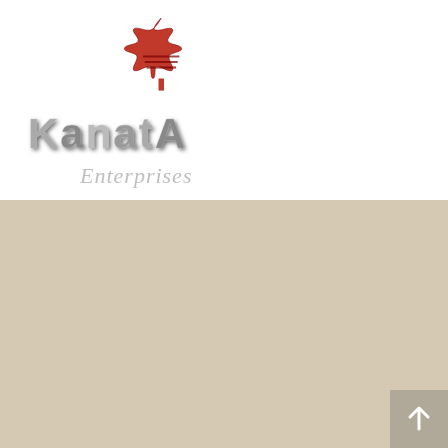[Figure (logo): Kanata Enterprises logo with a red Canadian maple leaf above stylized metallic text reading KANATA and italic script reading Enterprises]
Call us!
We are here Monday to Friday from 9am – 12pm & 2pm – 6pm.